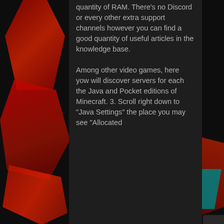quantity of RAM. There's no Discord or every other extra support channels however you can find a good quantity of useful articles in the knowledge base.

Among other video games, here yow will discover servers for each the Java and Pocket editions of Minecraft. 3. Scroll right down to "Java Settings" the place you may see "Allocated